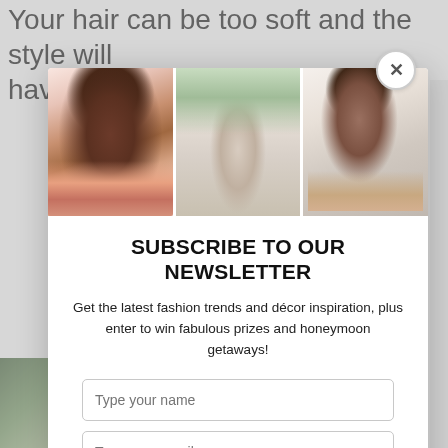Your hair can be too soft and the style will have no staying power.
[Figure (photo): Three photos of women with flowers: a Black woman smiling with a bouquet, a bride at a floral altar, and an Asian woman holding a floral arrangement.]
SUBSCRIBE TO OUR NEWSLETTER
Get the latest fashion trends and décor inspiration, plus enter to win fabulous prizes and honeymoon getaways!
Type your name
Type your email
SUBMIT